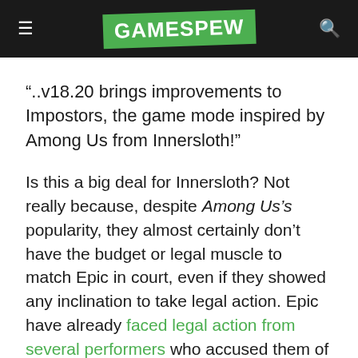GAMESPEW
“..v18.20 brings improvements to Impostors, the game mode inspired by Among Us from Innersloth!”
Is this a big deal for Innersloth? Not really because, despite Among Us’s popularity, they almost certainly don’t have the budget or legal muscle to match Epic in court, even if they showed any inclination to take legal action. Epic have already faced legal action from several performers who accused them of stealing their dance moves.
According to GameDeveloper.com, the response from